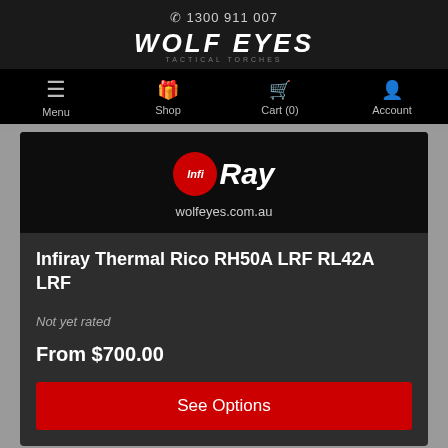☎ 1300 911 007
[Figure (logo): Wolf Eyes Tactical Torches logo in white bold italic text on dark background]
Menu  Shop  Cart (0)  Account
[Figure (logo): InfiRay logo with red circle containing 'Infi' text and 'Ray' bold text, with wolfeyes.com.au below]
Infiray Thermal Rico RH50A LRF RL42A LRF
Not yet rated
From $700.00
See Options